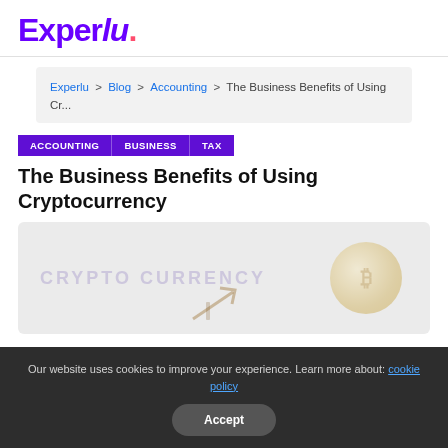Experlu.
Experlu > Blog > Accounting > The Business Benefits of Using Cr...
ACCOUNTING
BUSINESS
TAX
The Business Benefits of Using Cryptocurrency
[Figure (illustration): Cryptocurrency themed banner image with faded text 'CRYPTO CURRENCY' on the left and a gold coin graphic on the right, with an upward arrow.]
Our website uses cookies to improve your experience. Learn more about: cookie policy
Accept